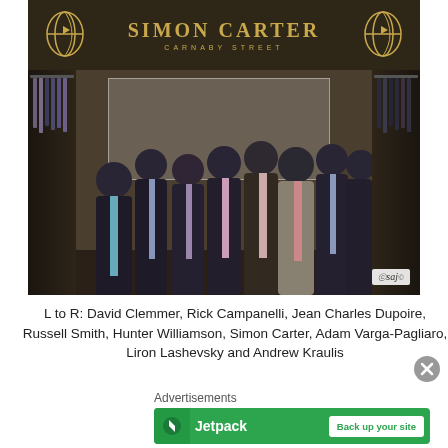[Figure (photo): Group photo of eight men in suits standing inside a Simon Carter Carnaby Street store in front of the branded store sign with golden logo and globe emblems. The store interior shows clothing racks on both sides. A 'saj' watermark appears in the bottom right corner of the photo.]
L to R: David Clemmer, Rick Campanelli, Jean Charles Dupoire, Russell Smith, Hunter Williamson, Simon Carter, Adam Varga-Pagliaro, Liron Lashevsky and Andrew Kraulis
Advertisements